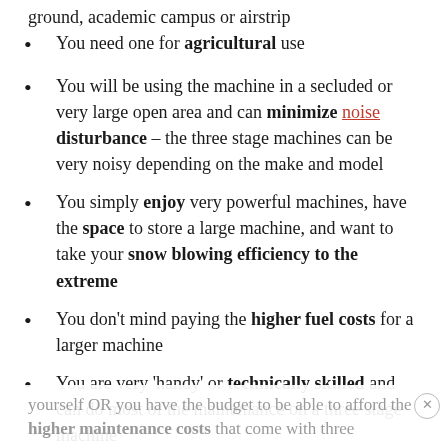ground, academic campus or airstrip
You need one for agricultural use
You will be using the machine in a secluded or very large open area and can minimize noise disturbance – the three stage machines can be very noisy depending on the make and model
You simply enjoy very powerful machines, have the space to store a large machine, and want to take your snow blowing efficiency to the extreme
You don't mind paying the higher fuel costs for a larger machine
You are very 'handy' or technically skilled and can do most of the maintenance on a three stage machine
yourself OR you have the budget to be able to afford the higher maintenance costs that come with three